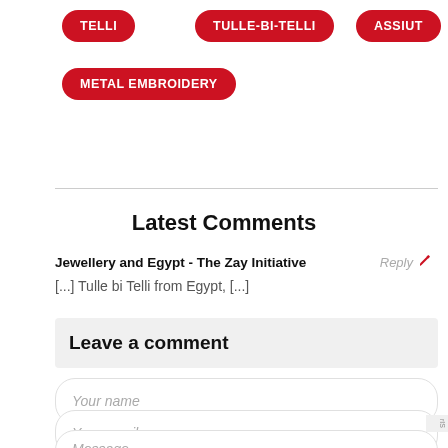TELLI
TULLE-BI-TELLI
ASSIUT
METAL EMBROIDERY
Latest Comments
Jewellery and Egypt - The Zay Initiative
[...] Tulle bi Telli from Egypt, [...]
Leave a comment
Your name
Your email
Message